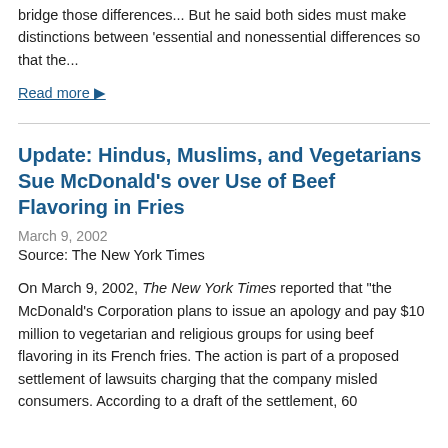bridge those differences... But he said both sides must make distinctions between 'essential and nonessential differences so that the...
Read more ▶
Update: Hindus, Muslims, and Vegetarians Sue McDonald's over Use of Beef Flavoring in Fries
March 9, 2002
Source: The New York Times
On March 9, 2002, The New York Times reported that "the McDonald's Corporation plans to issue an apology and pay $10 million to vegetarian and religious groups for using beef flavoring in its French fries. The action is part of a proposed settlement of lawsuits charging that the company misled consumers. According to a draft of the settlement, 60